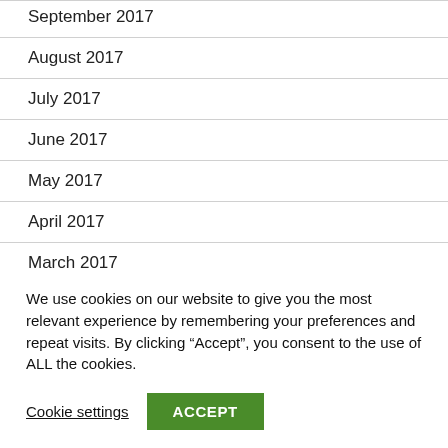September 2017
August 2017
July 2017
June 2017
May 2017
April 2017
March 2017
We use cookies on our website to give you the most relevant experience by remembering your preferences and repeat visits. By clicking “Accept”, you consent to the use of ALL the cookies.
Cookie settings  ACCEPT